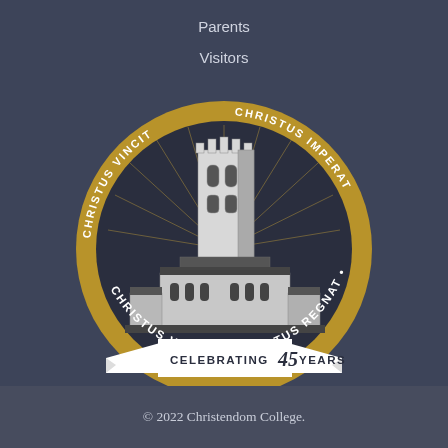Parents
Visitors
[Figure (logo): Christendom College 45th anniversary seal/logo. A circular gold and dark medallion featuring an illustrated Gothic cathedral/bell tower with radiating light beams. Around the circumference reads 'CHRISTUS VINCIT • CHRISTUS REGNAT • CHRISTUS IMPERAT' in white letters on gold ring. Below the circle is a white banner ribbon reading 'CELEBRATING 45 YEARS'.]
© 2022 Christendom College.